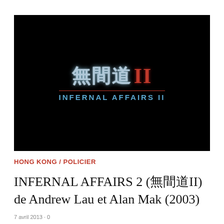[Figure (photo): Black movie title card for Infernal Affairs II showing Chinese characters (無間道II) in light blue with red Roman numeral II, and 'INFERNAL AFFAIRS II' in blue text below with a red underline.]
HONG KONG / POLICIER
INFERNAL AFFAIRS 2 (無間道II) de Andrew Lau et Alan Mak (2003)